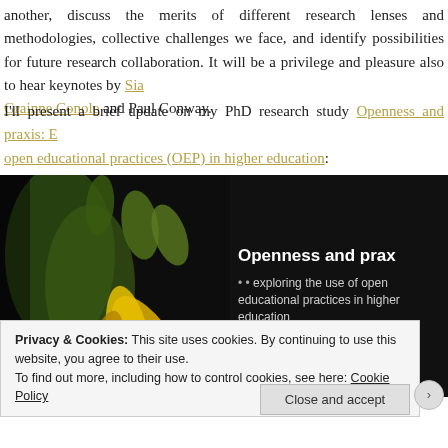another, discuss the merits of different research lenses and methodologies, collective challenges we face, and identify possibilities for future research collaboration. It will be a privilege and pleasure also to hear keynotes by Siân (link) Grainne Conole and Paul Conway.
I'll present a brief update on my PhD research study Openness and praxis: E... open educational practices (OEP) in higher education:
[Figure (photo): Dark-background image with sunflower buds on the left and white text on the right reading 'Openness and prax... exploring the use of open educational practice in higher education']
Privacy & Cookies: This site uses cookies. By continuing to use this website, you agree to their use. To find out more, including how to control cookies, see here: Cookie Policy
Close and accept